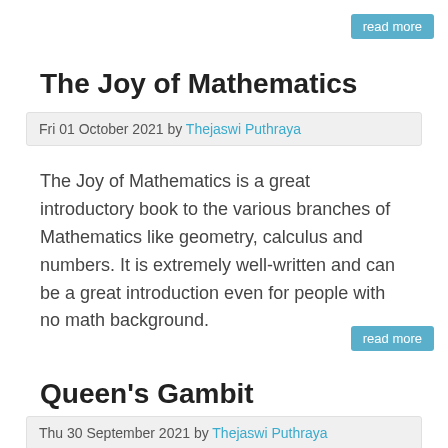read more
The Joy of Mathematics
Fri 01 October 2021 by Thejaswi Puthraya
The Joy of Mathematics is a great introductory book to the various branches of Mathematics like geometry, calculus and numbers. It is extremely well-written and can be a great introduction even for people with no math background.
read more
Queen's Gambit
Thu 30 September 2021 by Thejaswi Puthraya